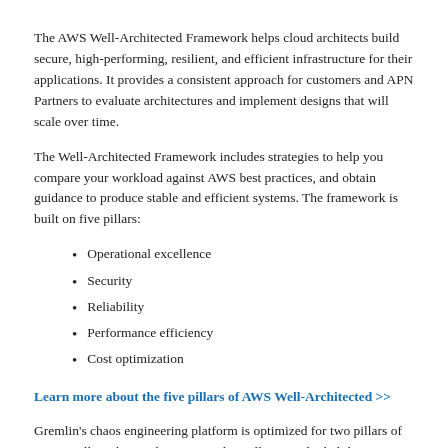The AWS Well-Architected Framework helps cloud architects build secure, high-performing, resilient, and efficient infrastructure for their applications. It provides a consistent approach for customers and APN Partners to evaluate architectures and implement designs that will scale over time.
The Well-Architected Framework includes strategies to help you compare your workload against AWS best practices, and obtain guidance to produce stable and efficient systems. The framework is built on five pillars:
Operational excellence
Security
Reliability
Performance efficiency
Cost optimization
Learn more about the five pillars of AWS Well-Architected >>
Gremlin's chaos engineering platform is optimized for two pillars of AWS Well-Architected: operational excellence and reliability.